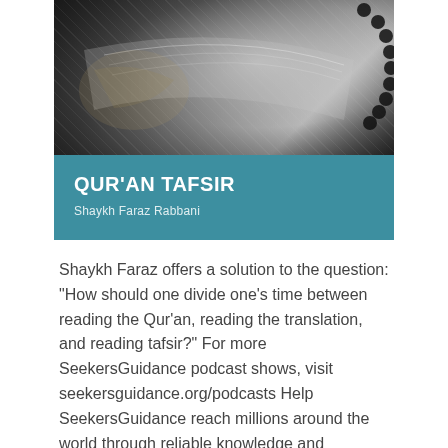[Figure (photo): Black and white close-up photo of an ornate Quran or religious book with decorative cover and prayer beads]
QUR'AN TAFSIR
Shaykh Faraz Rabbani
Shaykh Faraz offers a solution to the question: "How should one divide one's time between reading the Qur'an, reading the translation, and reading tafsir?" For more SeekersGuidance podcast shows, visit seekersguidance.org/podcasts Help SeekersGuidance reach millions around the world through reliable knowledge and guidance from qualified scholars, completely free: become a monthly supporter – www.seekersguidance.org/donate